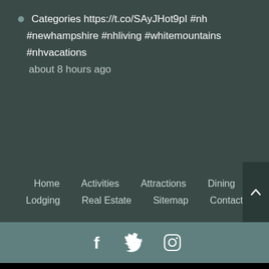Categories https://t.co/SAyJHot9pI #nh #newhampshire #nhliving #whitemountains #nhvacations
about 8 hours ago
Home   Activities   Attractions   Dining   Lodging   Real Estate   Sitemap   Contact
[Figure (other): Social media icons: Facebook, Twitter, Instagram on teal background]
1. Best Golf Resort Packages
2. Ping Golf Club Sets